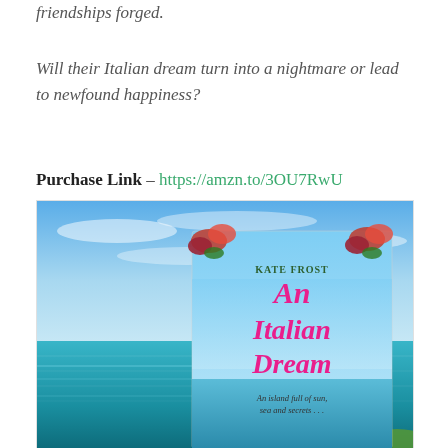friendships forged.
Will their Italian dream turn into a nightmare or lead to newfound happiness?
Purchase Link – https://amzn.to/3OU7RwU
[Figure (photo): Book cover of 'An Italian Dream' by Kate Frost, showing a tropical ocean and sky background with the book cover overlaid in the center. The book cover features pink bougainvillea flowers, blue sky, and the tagline 'An island full of sun, sea and secrets...']